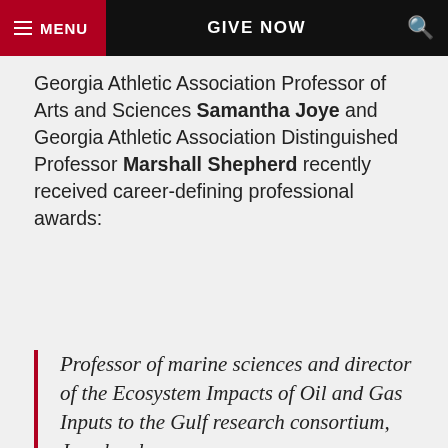MENU  GIVE NOW  🔍
Georgia Athletic Association Professor of Arts and Sciences Samantha Joye and Georgia Athletic Association Distinguished Professor Marshall Shepherd recently received career-defining professional awards:
Professor of marine sciences and director of the Ecosystem Impacts of Oil and Gas Inputs to the Gulf research consortium, Joye has been